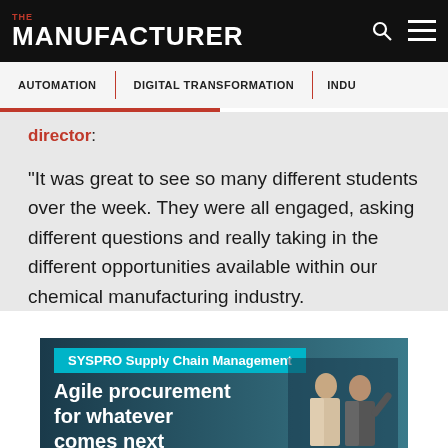THE MANUFACTURER
AUTOMATION | DIGITAL TRANSFORMATION | INDU
director:
“It was great to see so many different students over the week. They were all engaged, asking different questions and really taking in the different opportunities available within our chemical manufacturing industry.
[Figure (advertisement): SYSPRO Supply Chain Management advertisement banner: 'Agile procurement for whatever comes next' with two people in background]